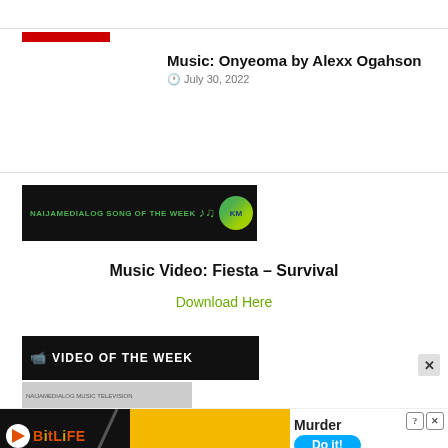Music: Onyeoma by Alexx Ogahson
July 30, 2022
[Figure (illustration): Naijamedialog Song of the Week banner with green music notes and logo]
Music Video: Fiesta – Survival
Download Here
[Figure (illustration): Video of the Week banner in black with white text]
[Figure (screenshot): Thumbnail strip below video of the week banner]
[Figure (illustration): BitLife advertisement banner with Murder Do it! text]